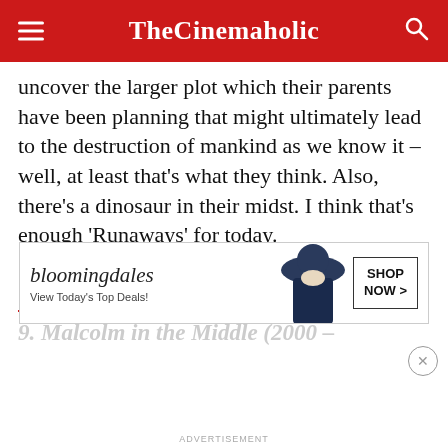TheCinemaholic
uncover the larger plot which their parents have been planning that might ultimately lead to the destruction of mankind as we know it – well, at least that's what they think. Also, there's a dinosaur in their midst. I think that's enough 'Runaways' for today.
Read More: Shows Like 'Orange is the New Black'
9. Malcolm in the Middle (2000 –
[Figure (screenshot): Bloomingdale's advertisement banner with logo, tagline 'View Today's Top Deals!', model photo, and 'SHOP NOW >' button]